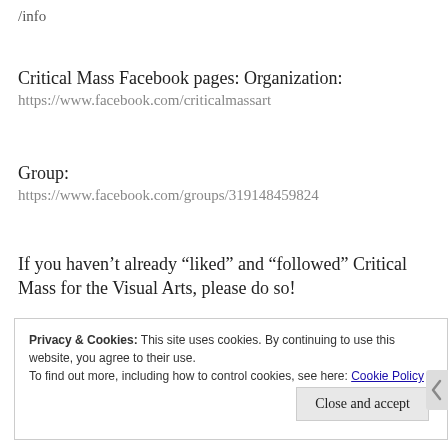/info
Critical Mass Facebook pages: Organization:
https://www.facebook.com/criticalmassart
Group:
https://www.facebook.com/groups/319148459824
If you haven’t already “liked” and “followed” Critical Mass for the Visual Arts, please do so!
Privacy & Cookies: This site uses cookies. By continuing to use this website, you agree to their use.
To find out more, including how to control cookies, see here: Cookie Policy